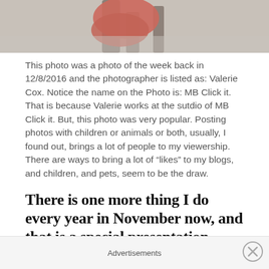[Figure (photo): Partial photo showing a person in a red dress/coat and what appears to be a horse or large animal in a snowy outdoor scene]
This photo was a photo of the week back in 12/8/2016 and the photographer is listed as: Valerie Cox. Notice the name on the Photo is: MB Click it. That is because Valerie works at the sutdio of MB Click it. But, this photo was very popular. Posting photos with children or animals or both, usually, I found out, brings a lot of people to my viewership. There are ways to bring a lot of “likes” to my blogs, and children, and pets, seem to be the draw.
There is one more thing I do every year in November now, and that is a special presentation called: THE ART OF BLACK AND WHITE. I go out into the internet,
Advertisements